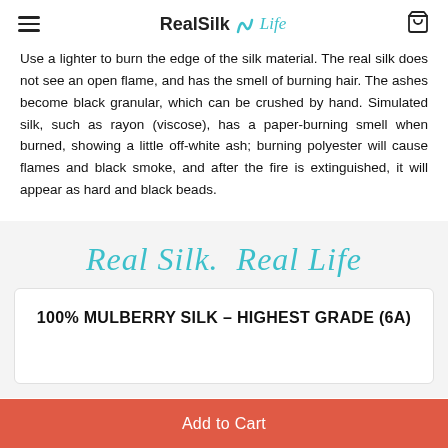RealSilk Life
Use a lighter to burn the edge of the silk material. The real silk does not see an open flame, and has the smell of burning hair. The ashes become black granular, which can be crushed by hand. Simulated silk, such as rayon (viscose), has a paper-burning smell when burned, showing a little off-white ash; burning polyester will cause flames and black smoke, and after the fire is extinguished, it will appear as hard and black beads.
Real Silk. Real Life
100% MULBERRY SILK – HIGHEST GRADE (6A)
Add to Cart